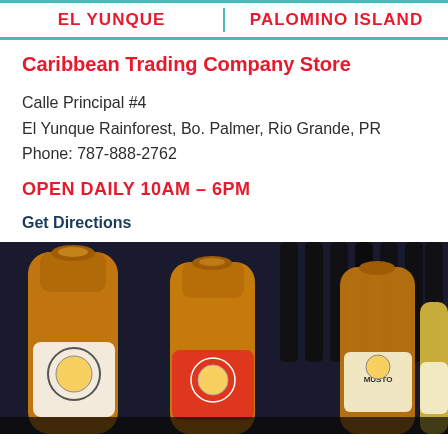EL YUNQUE   PALOMINO ISLAND
Caribbean Trading Company Store
Calle Principal #4
El Yunque Rainforest, Bo. Palmer, Rio Grande, PR
Phone: 787-888-2762
OPEN DAILY 10AM – 6PM
Get Directions
[Figure (photo): Rows of hot sauce bottles with Caribbean Trading Company labels in orange, red, and yellow, displayed on a store shelf against a dark background.]